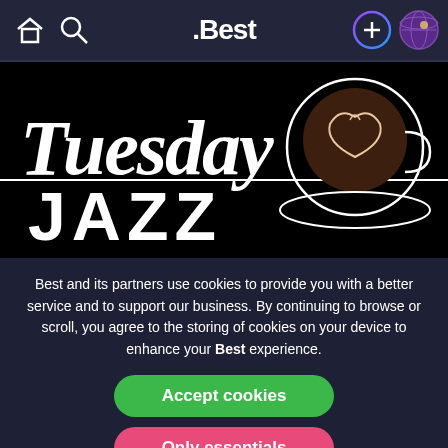.Best
[Figure (illustration): Black background banner with cursive white 'Tuesday' text and 'JAZZ' text below, with a decorative latte art coffee cup illustration on the right side.]
Best and its partners use cookies to provide you with a better service and to support our business. By continuing to browse or scroll, you agree to the storing of cookies on your device to enhance your Best experience.
Accept cookies
Only essentials
Copyright © All rights reserved
Privacy   Guidelines   Terms of Use
Legal Information
Learn more about our privacy policy.